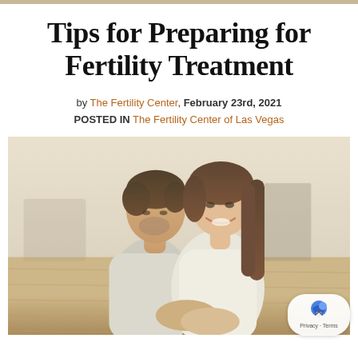Tips for Preparing for Fertility Treatment
by The Fertility Center, February 23rd, 2021
POSTED IN The Fertility Center of Las Vegas
[Figure (photo): A couple sitting together on a wooden floor, the man leaning his head toward the woman who is smiling. Both appear relaxed and happy in a warmly lit room.]